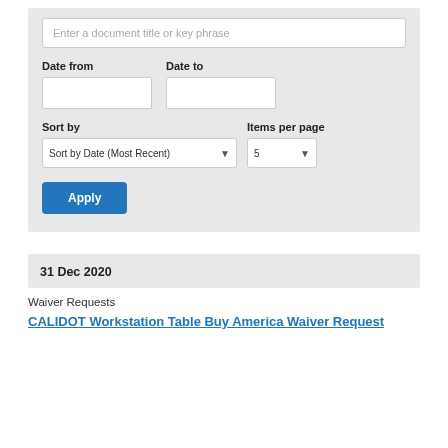[Figure (screenshot): Search form with text input 'Enter a document title or key phrase', date range fields (Date from, Date to), sort dropdown 'Sort by Date (Most Recent)', items per page dropdown showing '5', and an Apply button]
31 Dec 2020
Waiver Requests
CALIDOT Workstation Table Buy America Waiver Request